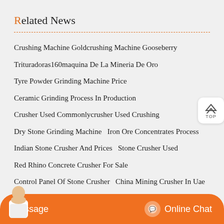Related News
Crushing Machine Goldcrushing Machine Gooseberry
Trituradoras160maquina De La Mineria De Oro
Tyre Powder Grinding Machine Price
Ceramic Grinding Process In Production
Crusher Used Commonlycrusher Used Crushing
Dry Stone Grinding Machine   Iron Ore Concentrates Process
Indian Stone Crusher And Prices   Stone Crusher Used
Red Rhino Concrete Crusher For Sale
Control Panel Of Stone Crusher   China Mining Crusher In Uae
Used Crushing Equipment In Nigeria